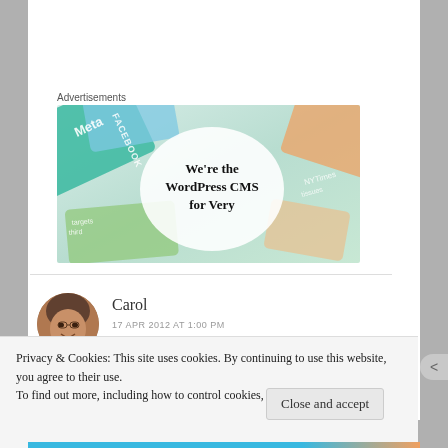Advertisements
[Figure (illustration): Advertisement banner showing colorful overlapping cards (Meta, Facebook, etc.) with a white circle overlay containing bold serif text: We're the WordPress CMS for Very]
Carol
17 APR 2012 AT 1:00 PM
[Figure (photo): Circular avatar photo of a woman named Carol, smiling, with short brown/grey hair]
Privacy & Cookies: This site uses cookies. By continuing to use this website, you agree to their use.
To find out more, including how to control cookies, see here: Cookie Policy
Close and accept